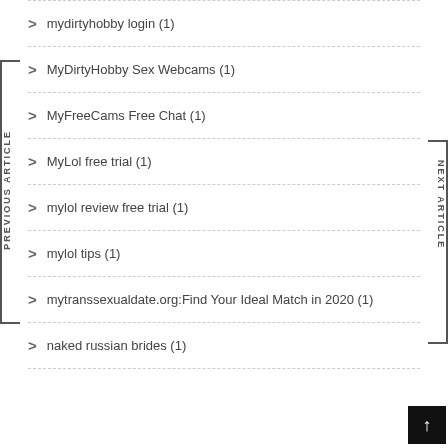mydirtyhobby login (1)
MyDirtyHobby Sex Webcams (1)
MyFreeCams Free Chat (1)
MyLol free trial (1)
mylol review free trial (1)
mylol tips (1)
mytranssexualdate.org:Find Your Ideal Match in 2020 (1)
naked russian brides (1)